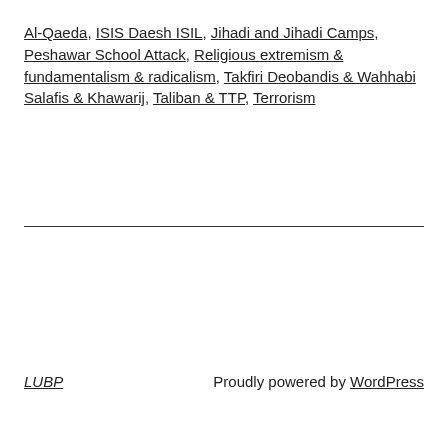Al-Qaeda, ISIS Daesh ISIL, Jihadi and Jihadi Camps, Peshawar School Attack, Religious extremism & fundamentalism & radicalism, Takfiri Deobandis & Wahhabi Salafis & Khawarij, Taliban & TTP, Terrorism
LUBP   Proudly powered by WordPress